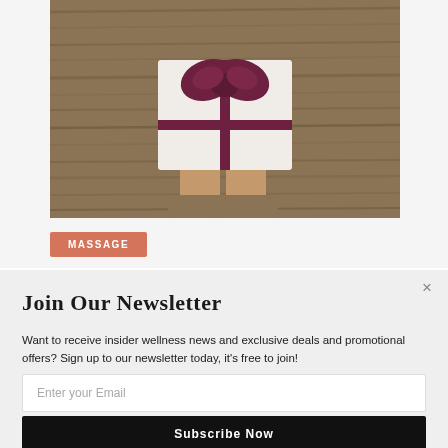[Figure (photo): Hands holding a white gift box with dark burgundy ribbon and bow on a rustic wooden background, viewed from above]
MASSAGE
Join Our Newsletter
Want to receive insider wellness news and exclusive deals and promotional offers? Sign up to our newsletter today, it's free to join!
Enter your Email
Subscribe Now